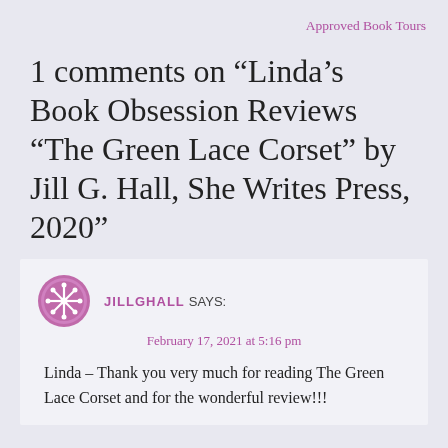Approved Book Tours
1 comments on “Linda’s Book Obsession Reviews “The Green Lace Corset” by Jill G. Hall, She Writes Press, 2020”
JILLGHALL SAYS:
February 17, 2021 at 5:16 pm
Linda – Thank you very much for reading The Green Lace Corset and for the wonderful review!!!